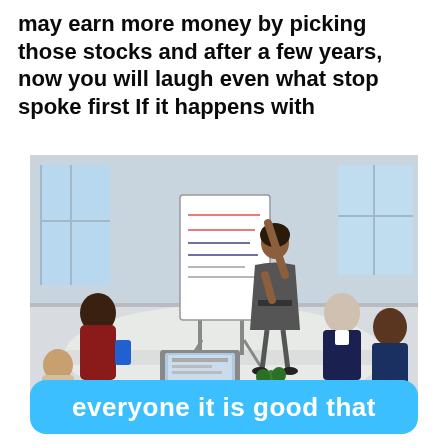may earn more money by picking those stocks and after a few years, now you will laugh even what stop spoke first If it happens with
[Figure (photo): Business meeting scene with a woman presenting at a whiteboard/flipchart to colleagues seated around a table, with a laptop open on the table.]
everyone it is good that